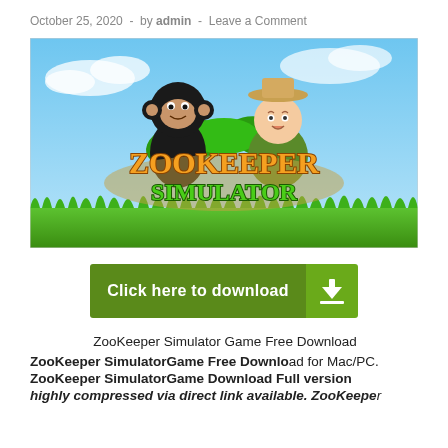October 25, 2020  -  by admin  -  Leave a Comment
[Figure (illustration): ZooKeeper Simulator game promotional banner showing a cartoon monkey and zookeeper character above colorful 'ZOOKEEPER SIMULATOR' logo text on a grassy background with blue sky]
[Figure (other): Green download button with text 'Click here to download' and a download arrow icon on the right side]
ZooKeeper Simulator Game Free Download
ZooKeeper SimulatorGame Free Download for Mac/PC. ZooKeeper SimulatorGame Download Full version highly compressed via direct link available. ZooKeeper